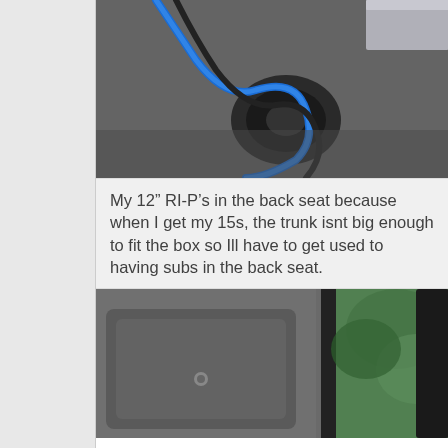[Figure (photo): Photo of subwoofer wiring/cables on dark carpet in car trunk, blue cable visible]
My 12” RI-P’s in the back seat because when I get my 15s, the trunk isnt big enough to fit the box so Ill have to get used to having subs in the back seat.
[Figure (photo): Photo of car interior showing back seat area, dark upholstery and window with greenery outside]